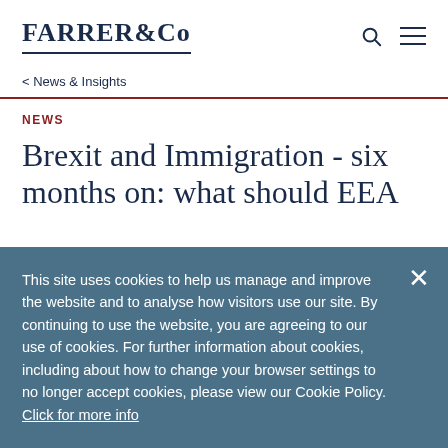FARRER & Co
< News & Insights
NEWS
Brexit and Immigration - six months on: what should EEA
This site uses cookies to help us manage and improve the website and to analyse how visitors use our site. By continuing to use the website, you are agreeing to our use of cookies. For further information about cookies, including about how to change your browser settings to no longer accept cookies, please view our Cookie Policy. Click for more info